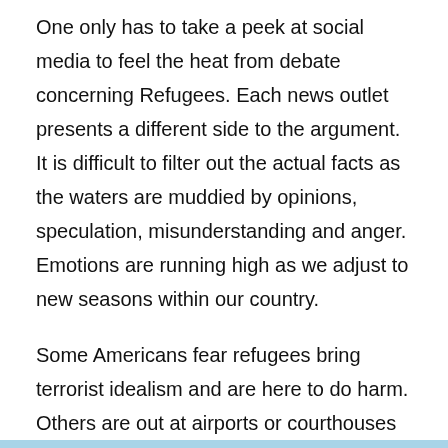One only has to take a peek at social media to feel the heat from debate concerning Refugees. Each news outlet presents a different side to the argument. It is difficult to filter out the actual facts as the waters are muddied by opinions, speculation, misunderstanding and anger. Emotions are running high as we adjust to new seasons within our country.
Some Americans fear refugees bring terrorist idealism and are here to do harm. Others are out at airports or courthouses protesting for the refugee's right to find safety here. There are some that don't care either way. Many citizens are torn between wanting protection and yet feel compassion towards the misplaced. And yet, most